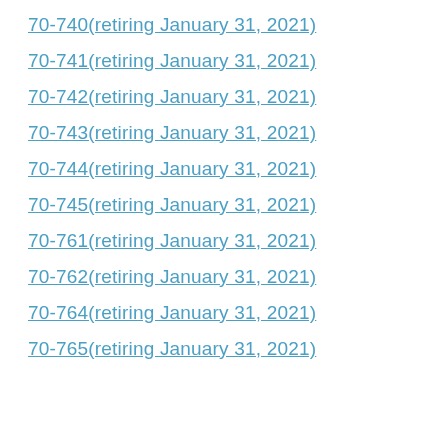70-740(retiring January 31, 2021)
70-741(retiring January 31, 2021)
70-742(retiring January 31, 2021)
70-743(retiring January 31, 2021)
70-744(retiring January 31, 2021)
70-745(retiring January 31, 2021)
70-761(retiring January 31, 2021)
70-762(retiring January 31, 2021)
70-764(retiring January 31, 2021)
70-765(retiring January 31, 2021)